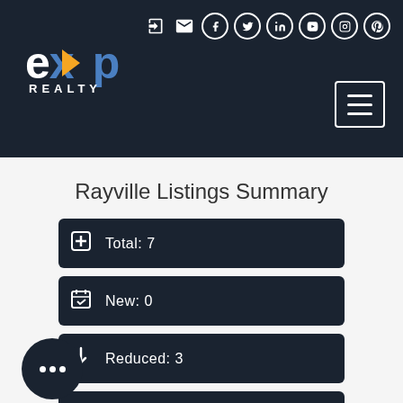eXp Realty header with navigation icons
Rayville Listings Summary
Total: 7
New: 0
Reduced: 3
Open House: 0